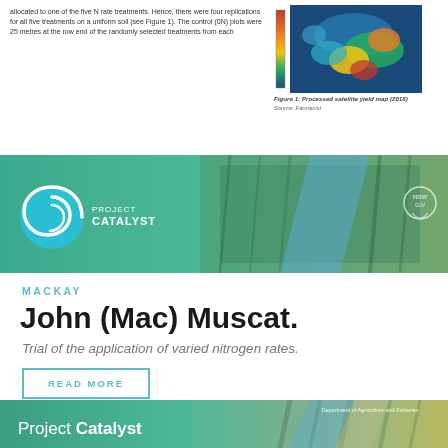allocated to one of the five N rate treatments. Hence, there were four replications for all five treatments on a uniform soil (see Figure 1). The control (0N) plots were 25 metres at the row end of the randomly selected treatments from each
[Figure (other): Processed satellite yield map heat map image with color scale bar on left side]
Figure 1: Processed satellite yield map (2018)
Source: Farmacist
[Figure (photo): Project Catalyst banner with logo showing a blue spiral on green background with vegetation photograph and NSW Government logo]
MACKAY
John (Mac) Muscat.
Trial of the application of varied nitrogen rates.
READ MORE
[Figure (photo): Project Catalyst green banner with logo and Department of Agriculture tagline, sugar cane field in background]
Variable N Economics: 2019-20 Case Study [trial D]
Mackay grower: Tony Bugeja
Growers participating in Project Catalyst have worked with economists from the Department of
Key findings
There was no significant Year B